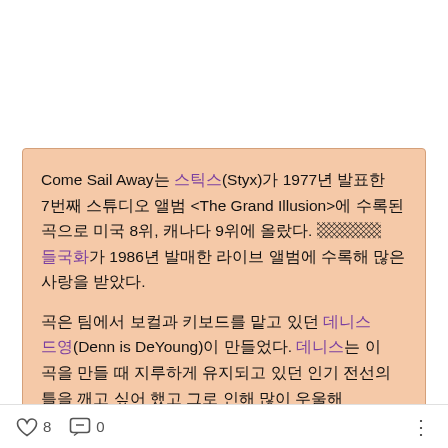Come Sail Away는 스틱스(Styx)가 1977년 발표한 7번째 스튜디오 앨범 <The Grand Illusion>에 수록된 곡으로 미국 8위, 캐나다 9위에 올랐다. ▩▩▩▩ 들국화가 1986년 발매한 라이브 앨범에 수록해 많은 사랑을 받았다.
곡은 팀에서 보컬과 키보드를 맡고 있던 데니스 드영(Dennis DeYoung)이 만들었다. 데니스는 이 곡을 만들 때 지루하게 유지되고 있던 인기 전선의 틀을 깨고 싶어 했고 그로 인해 많이 우울해 있었다고 말했다. 이듯은 결국 이 곡이 이기
♡ 8   💬 0   ⋮